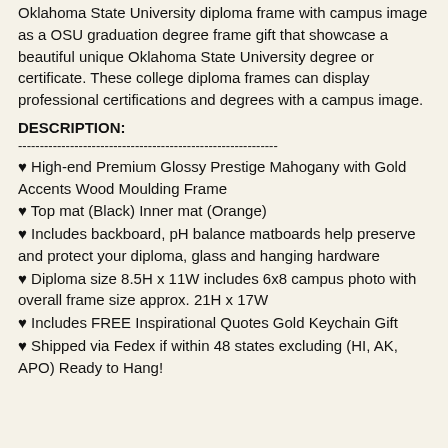Oklahoma State University diploma frame with campus image as a OSU graduation degree frame gift that showcase a beautiful unique Oklahoma State University degree or certificate. These college diploma frames can display professional certifications and degrees with a campus image.
DESCRIPTION:
------------------------------------------------------------
♥ High-end Premium Glossy Prestige Mahogany with Gold Accents Wood Moulding Frame
♥ Top mat (Black) Inner mat (Orange)
♥ Includes backboard, pH balance matboards help preserve and protect your diploma, glass and hanging hardware
♥ Diploma size 8.5H x 11W includes 6x8 campus photo with overall frame size approx. 21H x 17W
♥ Includes FREE Inspirational Quotes Gold Keychain Gift
♥ Shipped via Fedex if within 48 states excluding (HI, AK, APO) Ready to Hang!